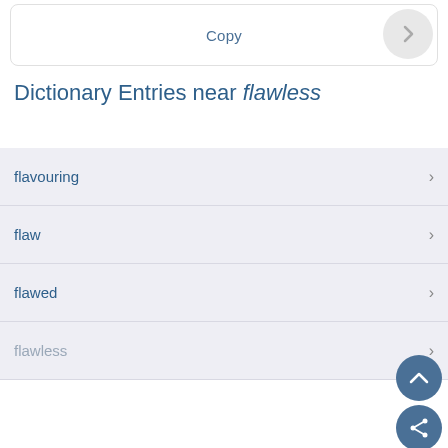Copy
Dictionary Entries near flawless
flavouring
flaw
flawed
flawless